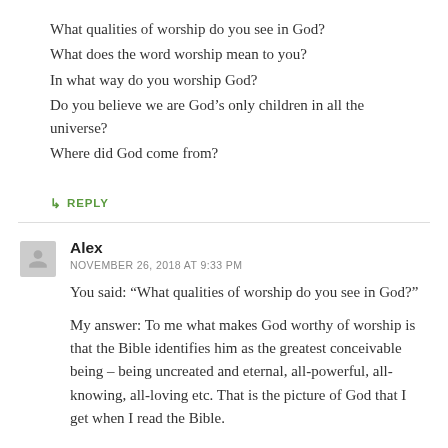What qualities of worship do you see in God?
What does the word worship mean to you?
In what way do you worship God?
Do you believe we are God’s only children in all the universe?
Where did God come from?
↳ REPLY
Alex
NOVEMBER 26, 2018 AT 9:33 PM
You said: “What qualities of worship do you see in God?”
My answer: To me what makes God worthy of worship is that the Bible identifies him as the greatest conceivable being – being uncreated and eternal, all-powerful, all-knowing, all-loving etc. That is the picture of God that I get when I read the Bible.